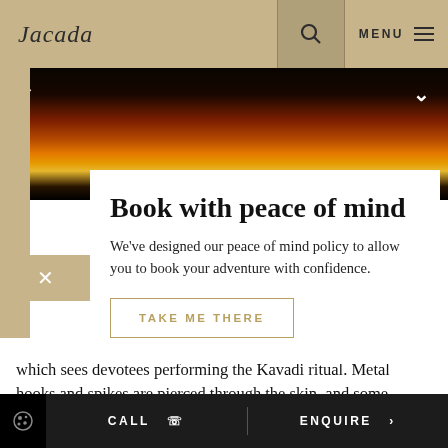Jacada  MENU
[Figure (photo): Dark background with colorful illuminated lanterns or lights in orange and yellow tones]
Book with peace of mind
We've designed our peace of mind policy to allow you to book your adventure with confidence.
TAKE ME THERE
which sees devotees performing the Kavadi ritual. Metal hooks and spikes are pierced through the skin, and some temples hold fire
CALL  ENQUIRE >